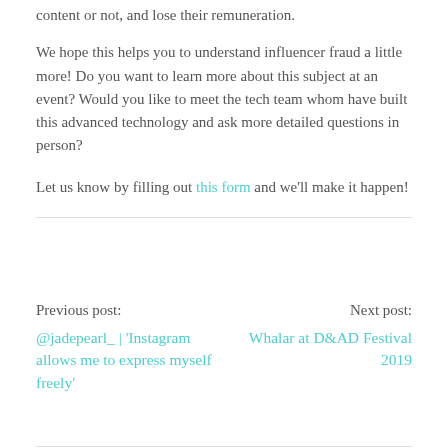content or not, and lose their remuneration.
We hope this helps you to understand influencer fraud a little more! Do you want to learn more about this subject at an event? Would you like to meet the tech team whom have built this advanced technology and ask more detailed questions in person?
Let us know by filling out this form and we'll make it happen!
Previous post:
@jadepearl_ | 'Instagram allows me to express myself freely'
Next post:
Whalar at D&AD Festival 2019